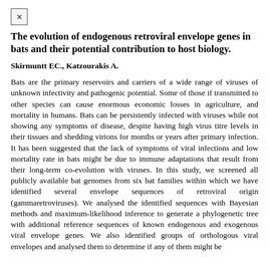The evolution of endogenous retroviral envelope genes in bats and their potential contribution to host biology.
Skirmuntt EC., Katzourakis A.
Bats are the primary reservoirs and carriers of a wide range of viruses of unknown infectivity and pathogenic potential. Some of those if transmitted to other species can cause enormous economic losses in agriculture, and mortality in humans. Bats can be persistently infected with viruses while not showing any symptoms of disease, despite having high virus titre levels in their tissues and shedding virions for months or years after primary infection. It has been suggested that the lack of symptoms of viral infections and low mortality rate in bats might be due to immune adaptations that result from their long-term co-evolution with viruses. In this study, we screened all publicly available bat genomes from six bat families within which we have identified several envelope sequences of retroviral origin (gammaretroviruses). We analysed the identified sequences with Bayesian methods and maximum-likelihood inference to generate a phylogenetic tree with additional reference sequences of known endogenous and exogenous viral envelope genes. We also identified groups of orthologous viral envelopes and analysed them to determine if any of them might be